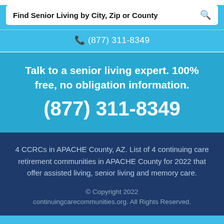Find Senior Living by City, Zip or County
☎ (877) 311-8349
Talk to a senior living expert. 100% free, no obligation information. (877) 311-8349
4 CCRCs in APACHE County, AZ. List of 4 continuing care retirement communities in APACHE County for 2022 that offer assisted living, senior living and memory care.
© Copyright 2022 continuingcarecommunities.org. All Rights Reserved.